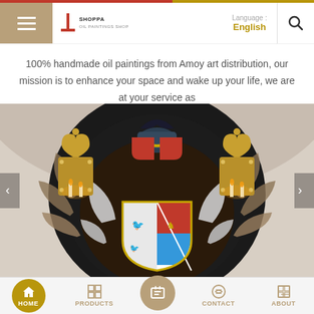SHOPPA — Language: English
100% handmade oil paintings from Amoy art distribution, our mission is to enhance your space and wake up your life, we are at your service as
[Figure (photo): Photo of a heraldic coat of arms painting mounted on a dark circular background on a wall, flanked by two ornate golden wall sconces with candles]
HOME | PRODUCTS | CONTACT | ABOUT